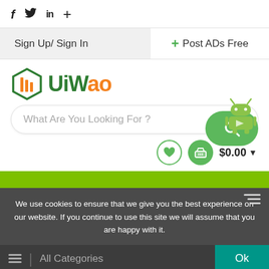f  Twitter  in  +
Sign Up/ Sign In
+ Post ADs Free
[Figure (logo): UiWao logo with green hexagon icon and orange 'UiWao' text]
What Are You Looking For ?
[Figure (illustration): Android robot figure on green rounded search button with magnifying glass icon]
[Figure (infographic): Heart icon circle (wishlist) and basket icon green circle (cart) with $0.00 price and dropdown arrow]
We use cookies to ensure that we give you the best experience on our website. If you continue to use this site we will assume that you are happy with it.
≡  |  All Categories
Ok